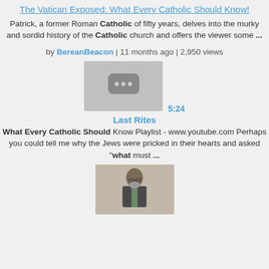The Vatican Exposed: What Every Catholic Should Know!
Patrick, a former Roman Catholic of fifty years, delves into the murky and sordid history of the Catholic church and offers the viewer some ...
by BereanBeacon | 11 months ago | 2,950 views
[Figure (screenshot): Video thumbnail placeholder with three dots icon and duration 5:24]
Last Rites
What Every Catholic Should Know Playlist - www.youtube.com Perhaps you could tell me why the Jews were pricked in their hearts and asked "what must ...
[Figure (photo): Photo of a man in a suit speaking at a podium]